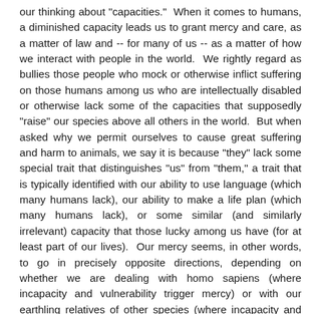our thinking about "capacities." When it comes to humans, a diminished capacity leads us to grant mercy and care, as a matter of law and -- for many of us -- as a matter of how we interact with people in the world. We rightly regard as bullies those people who mock or otherwise inflict suffering on those humans among us who are intellectually disabled or otherwise lack some of the capacities that supposedly "raise" our species above all others in the world. But when asked why we permit ourselves to cause great suffering and harm to animals, we say it is because "they" lack some special trait that distinguishes "us" from "them," a trait that is typically identified with our ability to use language (which many humans lack), our ability to make a life plan (which many humans lack), or some similar (and similarly irrelevant) capacity that those lucky among us have (for at least part of our lives). Our mercy seems, in other words, to go in precisely opposite directions, depending on whether we are dealing with homo sapiens (where incapacity and vulnerability trigger mercy) or with our earthling relatives of other species (where incapacity and vulnerability trigger contempt, exploitation, and moral demotion)..